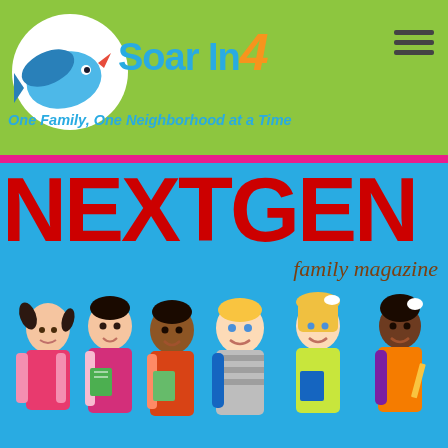[Figure (logo): Soar In 4 logo with blue bird/fish on white circle, green background header bar with tagline 'One Family, One Neighborhood at a Time']
NEXTGEN
family magazine
[Figure (photo): Six diverse children smiling, wearing backpacks and holding school supplies, standing in a row on a blue background]